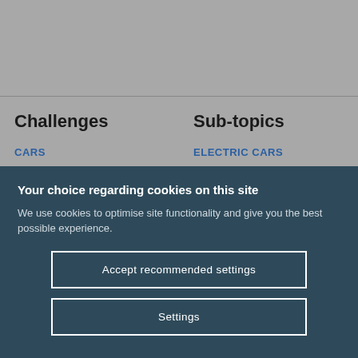Challenges
CARS
Sub-topics
ELECTRIC CARS
Your choice regarding cookies on this site
We use cookies to optimise site functionality and give you the best possible experience.
Accept recommended settings
Settings